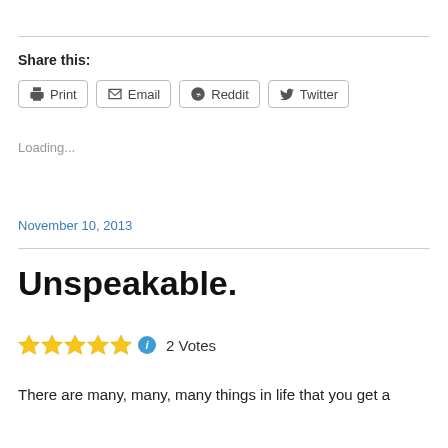Share this:
Print | Email | Reddit | Twitter
Loading...
November 10, 2013
Unspeakable.
★★★★★ ℹ 2 Votes
There are many, many, many things in life that you get a